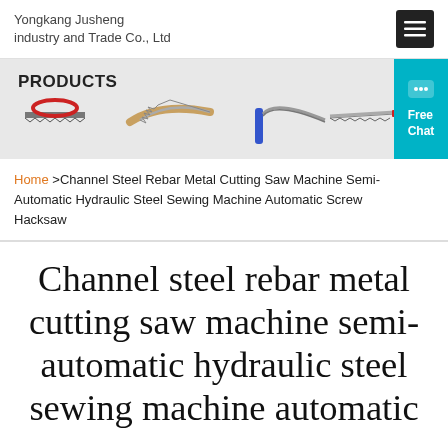Yongkang Jusheng industry and Trade Co., Ltd
[Figure (screenshot): Banner showing product saws with label PRODUCTS on gray background]
Home >Channel Steel Rebar Metal Cutting Saw Machine Semi-Automatic Hydraulic Steel Sewing Machine Automatic Screw Hacksaw
Channel steel rebar metal cutting saw machine semi-automatic hydraulic steel sewing machine automatic